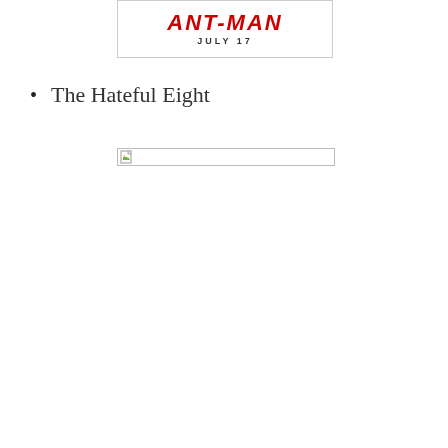[Figure (illustration): Partial movie poster for Ant-Man showing the title text 'ANT-MAN' in red stylized letters and 'JULY 17' below it, with a border]
The Hateful Eight
[Figure (illustration): Broken/missing image placeholder with a small file icon, bordered box]